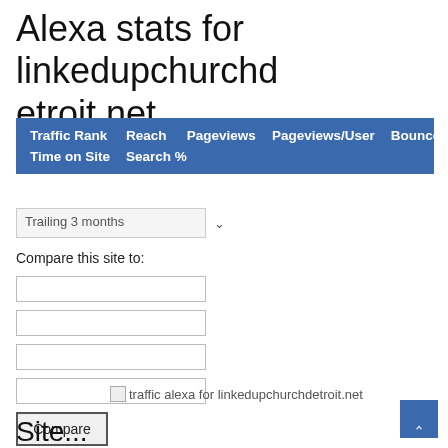Alexa stats for linkedupchurchdetroit.net
| Traffic Rank | Reach | Pageviews | Pageviews/User | Bounce % | Time on Site | Search % |
| --- | --- | --- | --- | --- | --- | --- |
Trailing 3 months
Compare this site to:
[Figure (screenshot): Four empty text input boxes for site comparison]
Compare
[Figure (photo): traffic alexa for linkedupchurchdetroit.net (broken image placeholder)]
Site...